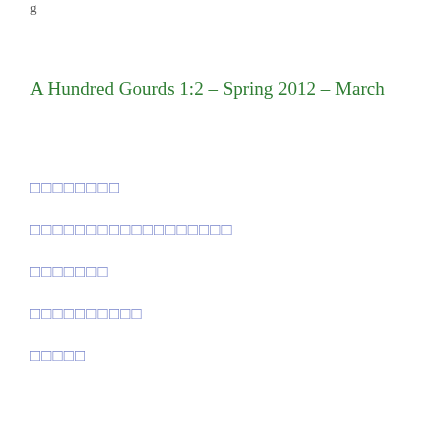A Hundred Gourds 1:2 – Spring 2012 – March
□□□□□□□□
□□□□□□□□□□□□□□□□□□
□□□□□□□
□□□□□□□□□□
□□□□□